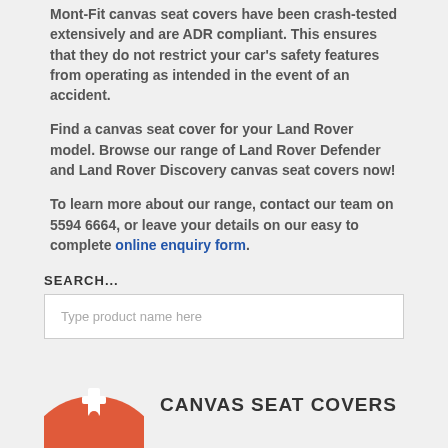Mont-Fit canvas seat covers have been crash-tested extensively and are ADR compliant. This ensures that they do not restrict your car's safety features from operating as intended in the event of an accident.
Find a canvas seat cover for your Land Rover model. Browse our range of Land Rover Defender and Land Rover Discovery canvas seat covers now!
To learn more about our range, contact our team on 5594 6664, or leave your details on our easy to complete online enquiry form.
SEARCH...
Type product name here
CANVAS SEAT COVERS